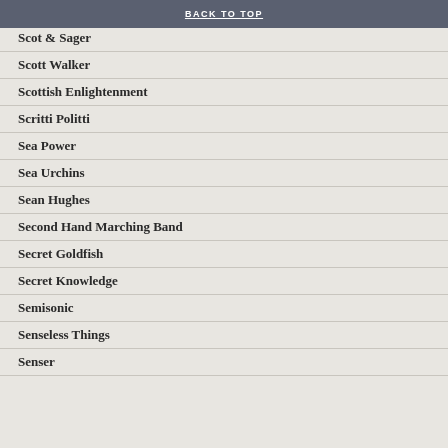BACK TO TOP
Scot & Sager
Scott Walker
Scottish Enlightenment
Scritti Politti
Sea Power
Sea Urchins
Sean Hughes
Second Hand Marching Band
Secret Goldfish
Secret Knowledge
Semisonic
Senseless Things
Senser